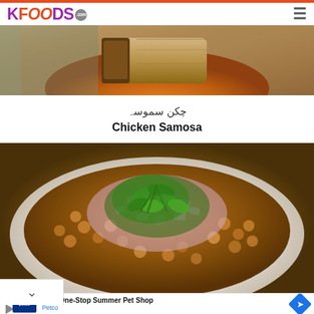KFOODS.com
[Figure (photo): Chicken Samosa on an orange plate, showing pastry with meat filling]
چکن سموسہ
Chicken Samosa
[Figure (photo): Chola chickpea curry dish on a white plate topped with chopped onions and fresh cilantro/coriander]
Your One-Stop Summer Pet Shop
Petco